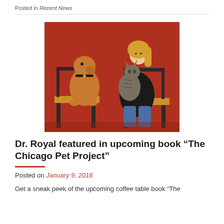Posted in Recent News
[Figure (photo): A woman with blonde hair sitting on a chair, holding a large tabby cat, with a brown dog sitting on a wooden chair beside her, against a red background.]
Dr. Royal featured in upcoming book “The Chicago Pet Project”
Posted on January 9, 2016
Get a sneak peek of the upcoming coffee table book “The